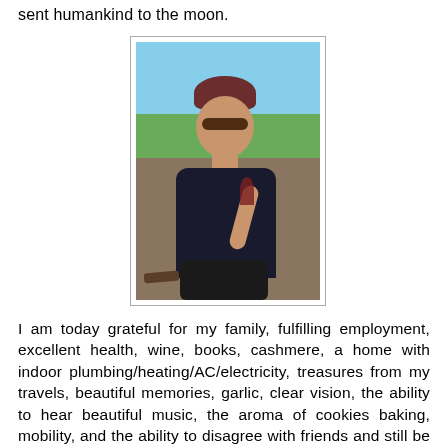sent humankind to the moon.
[Figure (photo): A woman with sunglasses and red/auburn hair sitting in an outdoor chair, wearing a dark navy top, holding a glass of wine. Green field and blue sky visible in the background.]
I am today grateful for my family, fulfilling employment, excellent health, wine, books, cashmere, a home with indoor plumbing/heating/AC/electricity, treasures from my travels, beautiful memories, garlic, clear vision, the ability to hear beautiful music, the aroma of cookies baking, mobility, and the ability to disagree with friends and still be friends. ☺